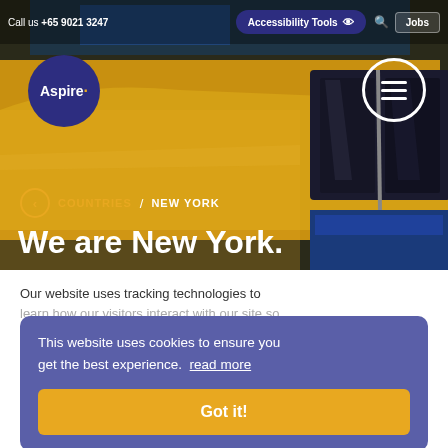Call us +65 9021 3247  Accessibility Tools  Jobs
[Figure (screenshot): Yellow taxi cab close-up photo used as hero background image for New York page]
Aspire
COUNTRIES / NEW YORK
We are New York.
Our website uses tracking technologies to learn how our visitors interact with our site so
This website uses cookies to ensure you get the best experience. read more
Got it!